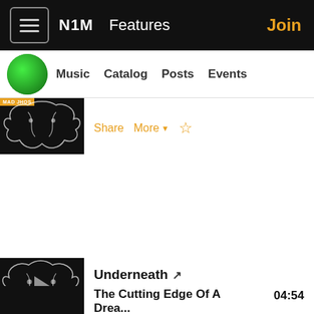N1M  Features  Join
Music  Catalog  Posts  Events
Share  More  ☆
StrangeUnknown  03:43
Share  More  ☆
Underneath  06:36
Share  More  ☆
The Cutting Edge Of A Drea...  04:54